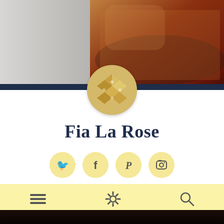[Figure (photo): Hero image showing pizza/food on a plate, with gray textured background on left and food on right, overlaid with navy bar and circular logo]
Fia La Rose
[Figure (infographic): Social media icons: Twitter (bird), Facebook (f), Pinterest (P), Instagram (camera) — each in a yellow circle]
[Figure (infographic): Navigation bar with hamburger menu icon, gear/settings icon, and search/magnifying glass icon on yellow background]
Lunch
[Figure (photo): Dark footer area at bottom of page]